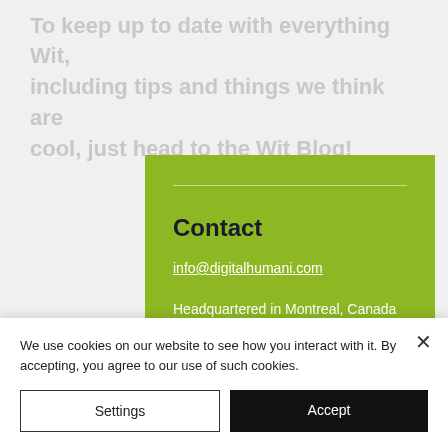To keep up to date with everything Wit, including tips and things we think are cool, just head to the Wit Blog!
Contact
info@digitalhumani.com
Headquartered in Montreal, Canada but also operating out of the USA, Europe and New Zealand!
We use cookies on our website to see how you interact with it. By accepting, you agree to our use of such cookies.